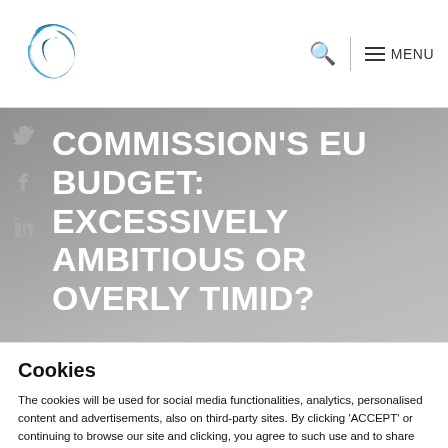Logo · Search · MENU
COMMISSION'S EU BUDGET: EXCESSIVELY AMBITIOUS OR OVERLY TIMID?
Cookies
The cookies will be used for social media functionalities, analytics, personalised content and advertisements, also on third-party sites. By clicking 'ACCEPT' or continuing to browse our site and clicking, you agree to such use and to share your data. You can obtain more information about our use of cookies via the 'Cookie settings'.
Cookie instellingen  Accepteren